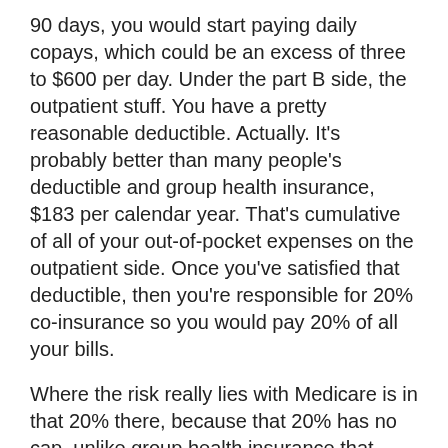90 days, you would start paying daily copays, which could be an excess of three to $600 per day. Under the part B side, the outpatient stuff. You have a pretty reasonable deductible. Actually. It's probably better than many people's deductible and group health insurance, $183 per calendar year. That's cumulative of all of your out-of-pocket expenses on the outpatient side. Once you've satisfied that deductible, then you're responsible for 20% co-insurance so you would pay 20% of all your bills.
Where the risk really lies with Medicare is in that 20% there, because that 20% has no cap, unlike group health insurance that says, okay, at some point you're maxed out and we'll, we'll take over your responsibilities a hundred percent. Medicare never says that. So you're paying 20% of that hundred dollar bill as well as 20% of that hundred thousand dollar bill. So that's the reason they need the Supplemental Plan...